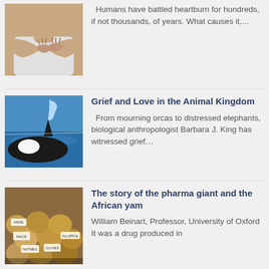[Figure (photo): Person crossing hands over chest (heartburn concept image)]
Humans have battled heartburn for hundreds, if not thousands, of years. What causes it,...
[Figure (photo): Orca whale surfacing in ocean water]
Grief and Love in the Animal Kingdom
From mourning orcas to distressed elephants, biological anthropologist Barbara J. King has witnessed grief...
[Figure (photo): Bags and sacks of dried herbs/yams at a market]
The story of the pharma giant and the African yam
William Beinart, Professor, University of Oxford It was a drug produced in